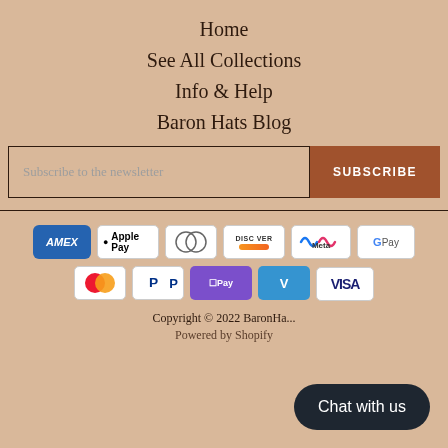Home
See All Collections
Info & Help
Baron Hats Blog
Subscribe to the newsletter
SUBSCRIBE
[Figure (infographic): Payment method icons: American Express, Apple Pay, Diners Club, Discover, Meta Pay, Google Pay, Mastercard, PayPal, Shop Pay, Venmo, Visa]
Copyright © 2022 BaronHa...
Powered by Shopify
Chat with us